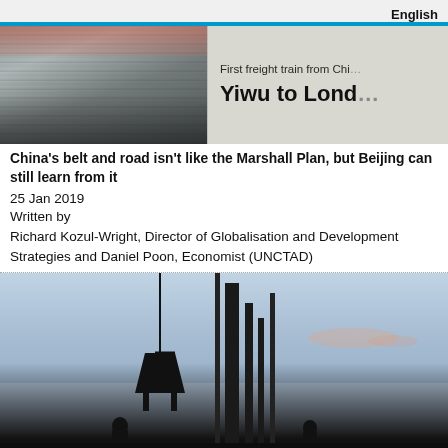English
[Figure (photo): Top image split in two: left half shows a crowd of people, right half shows a sign reading 'First freight train from Chi... Yiwu to Londo...']
China's belt and road isn't like the Marshall Plan, but Beijing can still learn from it
25 Jan 2019
Written by
Richard Kozul-Wright, Director of Globalisation and Development Strategies and Daniel Poon, Economist (UNCTAD)
[Figure (photo): Construction site silhouette photo showing crane and industrial equipment against a sky with clouds, dark silhouettes of workers at bottom]